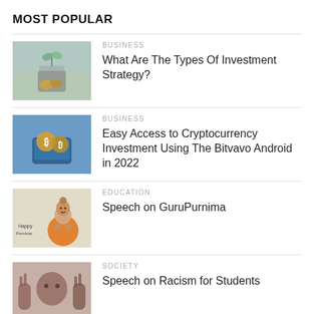MOST POPULAR
[Figure (photo): Plant growing from coins in a glass jar, nature and investment concept]
BUSINESS
What Are The Types Of Investment Strategy?
[Figure (photo): Bitcoin coins on a smartphone, cryptocurrency concept]
BUSINESS
Easy Access to Cryptocurrency Investment Using The Bitvavo Android in 2022
[Figure (photo): Buddha statue illustration with Happy Guru Purnima text]
EDUCATION
Speech on GuruPurnima
[Figure (photo): Child holding up hands, anti-racism concept]
SOCIETY
Speech on Racism for Students